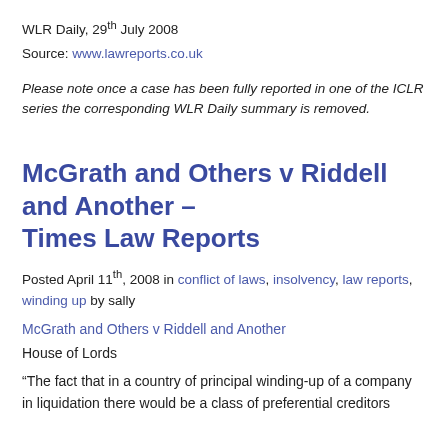WLR Daily, 29th July 2008
Source: www.lawreports.co.uk
Please note once a case has been fully reported in one of the ICLR series the corresponding WLR Daily summary is removed.
McGrath and Others v Riddell and Another – Times Law Reports
Posted April 11th, 2008 in conflict of laws, insolvency, law reports, winding up by sally
McGrath and Others v Riddell and Another
House of Lords
“The fact that in a country of principal winding-up of a company in liquidation there would be a class of preferential creditors